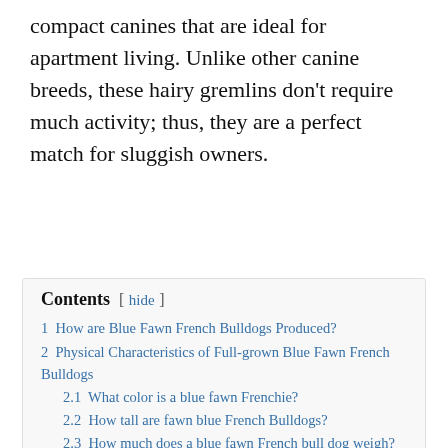compact canines that are ideal for apartment living. Unlike other canine breeds, these hairy gremlins don't require much activity; thus, they are a perfect match for sluggish owners.
| Contents | [hide] |
| 1 How are Blue Fawn French Bulldogs Produced? |  |
| 2 Physical Characteristics of Full-grown Blue Fawn French Bulldogs |  |
| 2.1 What color is a blue fawn Frenchie? |  |
| 2.2 How tall are fawn blue French Bulldogs? |  |
| 2.3 How much does a blue fawn French bull dog weigh? |  |
| 3 Temperament and Personality of Blue Fawn French Bulldogs |  |